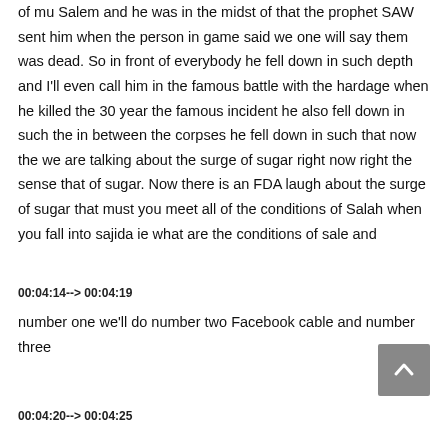of mu Salem and he was in the midst of that the prophet SAW sent him when the person in game said we one will say them was dead. So in front of everybody he fell down in such depth and I'll even call him in the famous battle with the hardage when he killed the 30 year the famous incident he also fell down in such the in between the corpses he fell down in such that now the we are talking about the surge of sugar right now right the sense that of sugar. Now there is an FDA laugh about the surge of sugar that must you meet all of the conditions of Salah when you fall into sajida ie what are the conditions of sale and
00:04:14--> 00:04:19
number one we'll do number two Facebook cable and number three
00:04:20--> 00:04:25